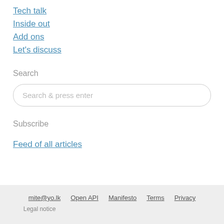Tech talk
Inside out
Add ons
Let's discuss
Search
Search & press enter
Subscribe
Feed of all articles
mite@yo.lk   Open API   Manifesto   Terms   Privacy   Legal notice